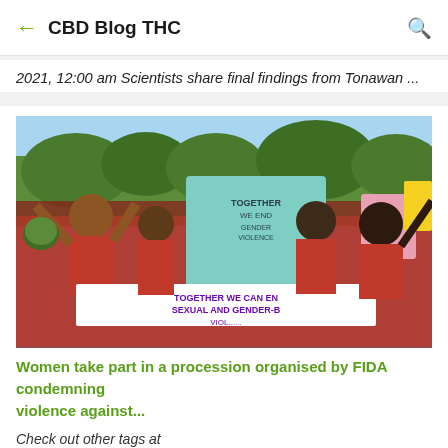CBD Blog THC
2021, 12:00 am Scientists share final findings from Tonawan…
[Figure (photo): Women protesters in red shirts holding signs including a banner reading TOGETHER WE CAN END SEXUAL AND GENDER-BA[SED VIOLENCE], with one woman raising her arms and shouting, others holding colorful signs against a backdrop of trees and blue sky.]
Women take part in a procession organised by FIDA condemning violence against…
Check out other tags at https://www.thc420hemp.com/search/label/Hemp Women take part in a procession organised by FIDA condemning violence against… CBD • March 8, 2022, 11:42 am TheStarKenya…